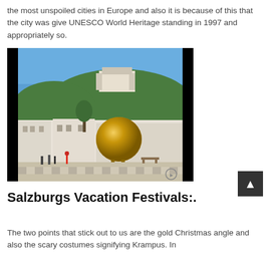the most unspoiled cities in Europe and also it is because of this that the city was give UNESCO World Heritage standing in 1997 and appropriately so.
[Figure (photo): A town square in Salzburg, Austria with a large golden sphere sculpture in the foreground. Behind it are historic white buildings and a hilltop castle (Hohensalzburg Fortress) surrounded by green trees under a blue sky. People walk around the square which has a checkered stone floor pattern.]
Salzburgs Vacation Festivals:.
The two points that stick out to us are the gold Christmas angle and also the scary costumes signifying Krampus. In